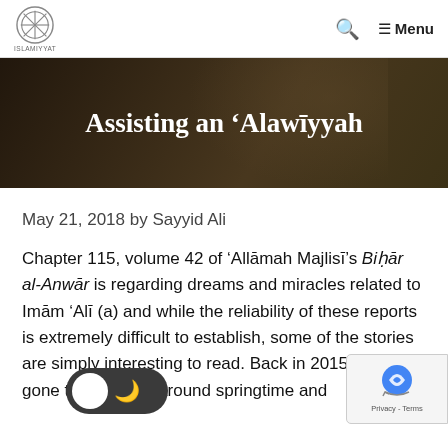ISLAMIYYAT | Menu
[Figure (illustration): Hero banner with dark brown background showing silhouette, with white bold text 'Assisting an ʿAlawīyyah']
Assisting an ʿAlawīyyah
May 21, 2018 by Sayyid Ali
Chapter 115, volume 42 of ʿAllāmah Majlisī’s Biḥār al-Anwār is regarding dreams and miracles related to Imām ʿAlī (a) and while the reliability of these reports is extremely difficult to establish, some of the stories are simply interesting to read. Back in 2015 I had gone to Mashhad around springtime and